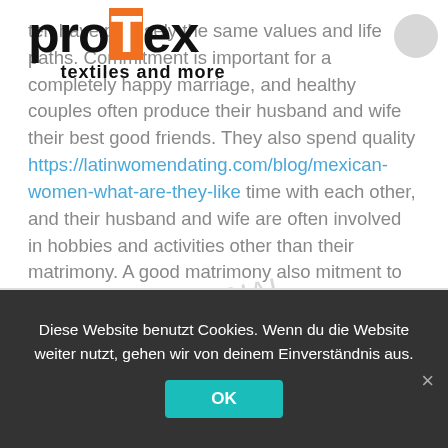[Figure (logo): Protex logo with orange T, text 'textiles and more' below]
...ten have precisely the same values and life paths. Commitment is important for a completely happy marriage, and healthy couples often produce their husband and wife their best good friends. They also spend quality https://latinwomendating.com/blog/mexican-women-what-are-they-like time with each other, and their husband and wife are often involved in hobbies and activities other than their matrimony. A good matrimony also ...mitment to kids. It may be as easy as having an interest within a certain hobby together. Similar holds true designed for infidelity.
Diese Website benutzt Cookies. Wenn du die Website weiter nutzt, gehen wir von deinem Einverständnis aus.